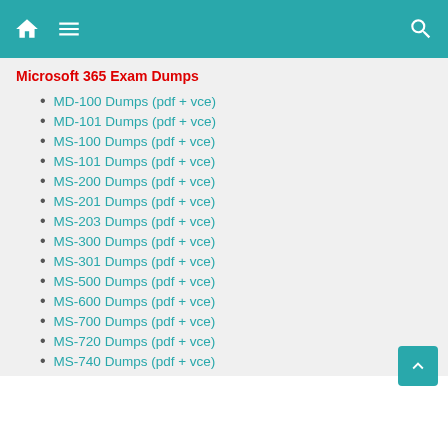Microsoft 365 Exam Dumps
Microsoft 365 Exam Dumps
MD-100 Dumps (pdf + vce)
MD-101 Dumps (pdf + vce)
MS-100 Dumps (pdf + vce)
MS-101 Dumps (pdf + vce)
MS-200 Dumps (pdf + vce)
MS-201 Dumps (pdf + vce)
MS-203 Dumps (pdf + vce)
MS-300 Dumps (pdf + vce)
MS-301 Dumps (pdf + vce)
MS-500 Dumps (pdf + vce)
MS-600 Dumps (pdf + vce)
MS-700 Dumps (pdf + vce)
MS-720 Dumps (pdf + vce)
MS-740 Dumps (pdf + vce)